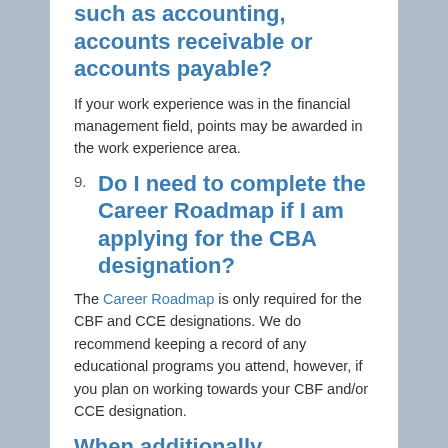such as accounting, accounts receivable or accounts payable?
If your work experience was in the financial management field, points may be awarded in the work experience area.
9. Do I need to complete the Career Roadmap if I am applying for the CBA designation?
The Career Roadmap is only required for the CBF and CCE designations. We do recommend keeping a record of any educational programs you attend, however, if you plan on working towards your CBF and/or CCE designation.
When additionally...